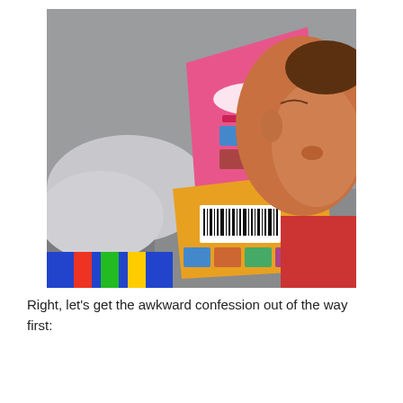[Figure (photo): A young child sleeping with their face resting against the back cover of a pink 'My Thomas Story Library' book set. An orange book with a barcode is also visible underneath. The scene appears to be on a seat or couch with grey fabric visible in the background.]
Right, let's get the awkward confession out of the way first: